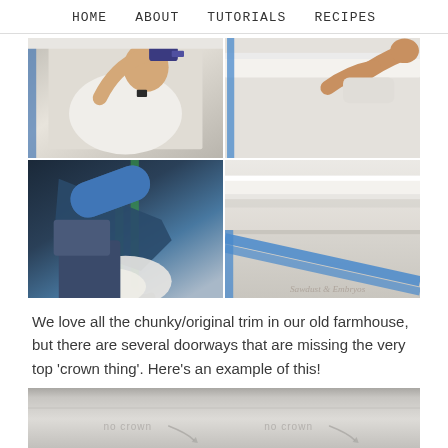HOME   ABOUT   TUTORIALS   RECIPES
[Figure (photo): 4-panel photo grid showing home trim installation process: person using power drill on trim (top-left), person pressing trim against ceiling (top-right), close-up of caulk gun applying caulk (bottom-left), installed white crown molding trim with blue painter's tape detail and watermark 'Sawdust & Embryos' (bottom-right)]
We love all the chunky/original trim in our old farmhouse, but there are several doorways that are missing the very top ‘crown thing’. Here’s an example of this!
[Figure (photo): Bottom partially visible photo showing doorways labeled 'no crown' with arrows pointing to areas missing crown molding]